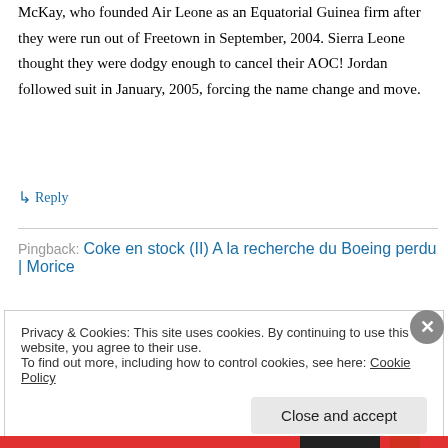McKay, who founded Air Leone as an Equatorial Guinea firm after they were run out of Freetown in September, 2004. Sierra Leone thought they were dodgy enough to cancel their AOC! Jordan followed suit in January, 2005, forcing the name change and move.
↳ Reply
Pingback: Coke en stock (II) A la recherche du Boeing perdu | Morice
Privacy & Cookies: This site uses cookies. By continuing to use this website, you agree to their use.
To find out more, including how to control cookies, see here: Cookie Policy
Close and accept